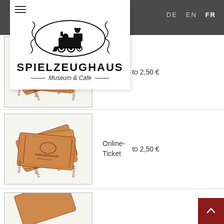[Figure (logo): Spielzeughaus Museum & Cafe logo with toy train in oval, hamburger menu icon]
DE  EN  FR
[Figure (photo): Stack of vintage Spielzeughaus Museum & Cafe tickets numbered 480558, 4805, 55084]
Online-Ticket   to 2,50 €
[Figure (photo): Stack of vintage Spielzeughaus Museum & Cafe tickets numbered 480558, 4805, 55084]
Online-Ticket   to 2,50 €
[Figure (photo): Partial stack of vintage Spielzeughaus Museum & Cafe tickets]